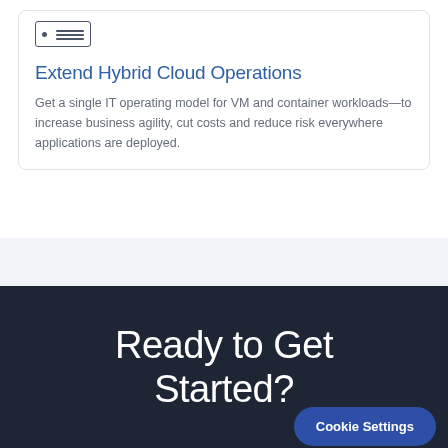[Figure (illustration): Server/device icon — small rectangle with a dot and horizontal lines inside, representing infrastructure or hardware]
Extend Hybrid Cloud Operations
Get a single IT operating model for VM and container workloads—to increase business agility, cut costs and reduce risk everywhere applications are deployed.
Ready to Get Started?
Cookie Settings